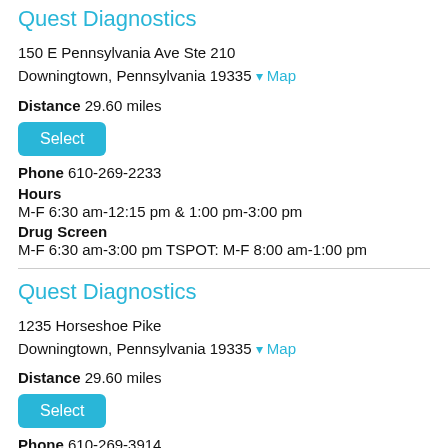Quest Diagnostics
150 E Pennsylvania Ave Ste 210
Downingtown, Pennsylvania 19335 Map
Distance 29.60 miles
Select
Phone 610-269-2233
Hours
M-F 6:30 am-12:15 pm & 1:00 pm-3:00 pm
Drug Screen
M-F 6:30 am-3:00 pm TSPOT: M-F 8:00 am-1:00 pm
Quest Diagnostics
1235 Horseshoe Pike
Downingtown, Pennsylvania 19335 Map
Distance 29.60 miles
Select
Phone 610-269-3914
Hours